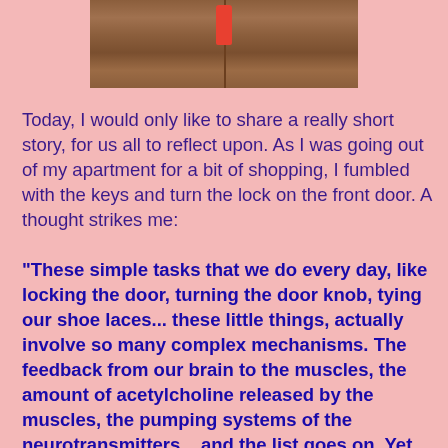[Figure (photo): Photo of a wooden door or panel with a red nail/object and a vertical divider line in the middle]
Today, I would only like to share a really short story, for us all to reflect upon.  As I was going out of my apartment for a bit of shopping, I fumbled with the keys and turn the lock on the front door.  A thought strikes me:
"These simple tasks that we do every day, like locking the door, turning the door knob, tying our shoe laces... these little things, actually involve so many complex mechanisms.  The feedback from our brain to the muscles, the amount of acetylcholine released by the muscles, the pumping systems of the neurotransmitters... and the list goes on.  Yet our body still does all this small, insignificant, but complex things with such precision!  Indeed, Allah does love us a lot, to allow us to do so much, with so little thinking to